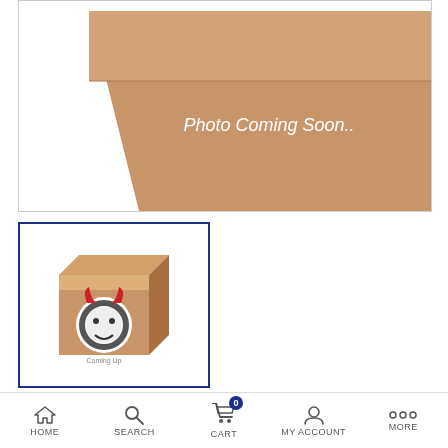[Figure (photo): Main product image showing a cardboard box with text 'Photo Coming Soon..' in white on a tan/brown background.]
[Figure (photo): Thumbnail image of a cardboard box with a logo (devil/gear icon) on it, selected with blue border.]
$103.92
In stock ✓
Qualifies Towards Free Shipping
HOME   SEARCH   CART   MY ACCOUNT   MORE